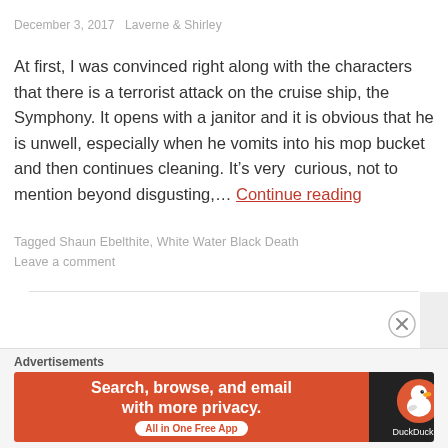December 3, 2017   Laverne & Shirley
At first, I was convinced right along with the characters that there is a terrorist attack on the cruise ship, the Symphony. It opens with a janitor and it is obvious that he is unwell, especially when he vomits into his mop bucket and then continues cleaning. It’s very  curious, not to mention beyond disgusting,… Continue reading
Tagged Shaun Ebelthite, White Water Black Death
Leave a comment
Advertisements
[Figure (other): DuckDuckGo advertisement banner: 'Search, browse, and email with more privacy. All in One Free App' with DuckDuckGo logo on dark background]